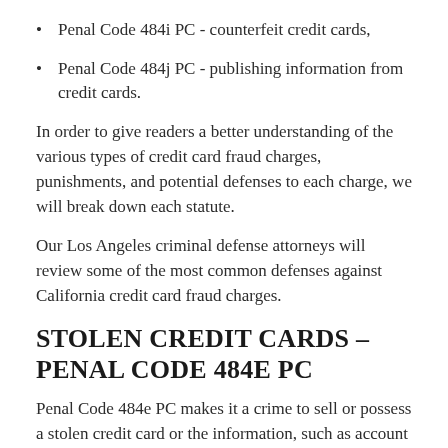Penal Code 484i PC - counterfeit credit cards,
Penal Code 484j PC - publishing information from credit cards.
In order to give readers a better understanding of the various types of credit card fraud charges, punishments, and potential defenses to each charge, we will break down each statute.
Our Los Angeles criminal defense attorneys will review some of the most common defenses against California credit card fraud charges.
STOLEN CREDIT CARDS – PENAL CODE 484E PC
Penal Code 484e PC makes it a crime to sell or possess a stolen credit card or the information, such as account or PIN number.